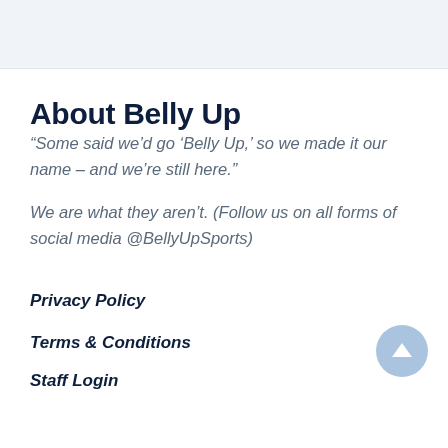About Belly Up
“Some said we’d go ‘Belly Up,’ so we made it our name – and we’re still here.”
We are what they aren’t. (Follow us on all forms of social media @BellyUpSports)
Privacy Policy
Terms & Conditions
Staff Login